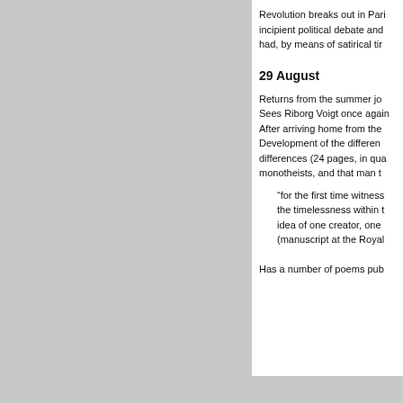Revolution breaks out in Paris incipient political debate and had, by means of satirical tir
29 August
Returns from the summer jo Sees Riborg Voigt once again After arriving home from the Development of the differen differences (24 pages, in qua monotheists, and that man t
“for the first time witness the timelessness within t idea of one creator, one (manuscript at the Royal
Has a number of poems pub